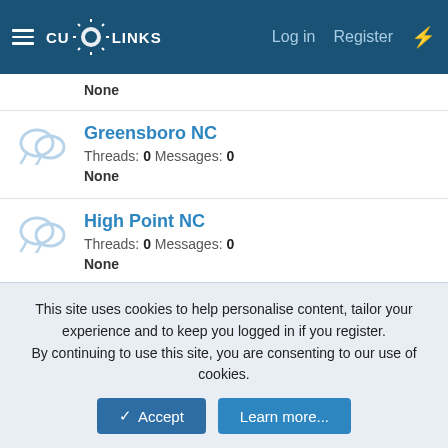CU* LINKS — Log in | Register
None
Greensboro NC
Threads: 0 Messages: 0
None
High Point NC
Threads: 0 Messages: 0
None
Hendersonville NC
Threads: 0 Messages: 0
None
This site uses cookies to help personalise content, tailor your experience and to keep you logged in if you register.
By continuing to use this site, you are consenting to our use of cookies.